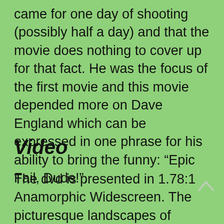came for one day of shooting (possibly half a day) and that the movie does nothing to cover up for that fact. He was the focus of the first movie and this movie depended more on Dave England which can be expressed in one phrase for his ability to bring the funny: “Epic Fail, Dude!”.
Video
The dvd is presented in 1.78:1 Anamorphic Widescreen. The picturesque landscapes of Canada is something beautiful